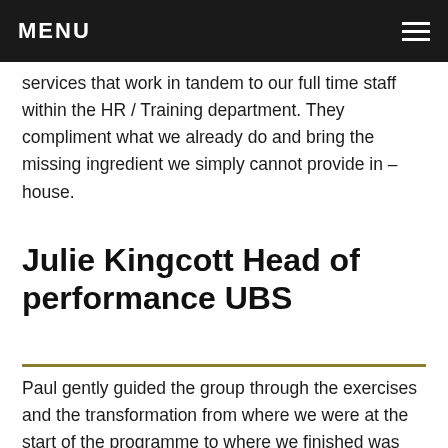MENU
services that work in tandem to our full time staff within the HR / Training department. They compliment what we already do and bring the missing ingredient we simply cannot provide in – house.
Julie Kingcott Head of performance UBS
Paul gently guided the group through the exercises and the transformation from where we were at the start of the programme to where we finished was truly inspiring and